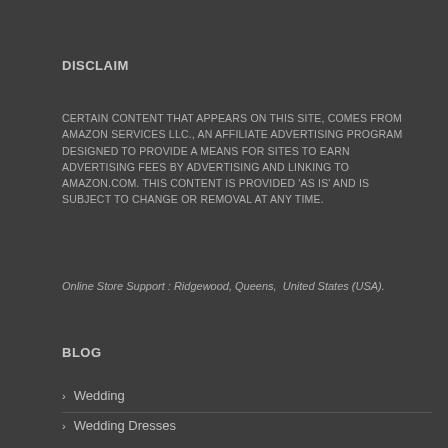DISCLAIM
CERTAIN CONTENT THAT APPEARS ON THIS SITE, COMES FROM AMAZON SERVICES LLC., AN AFFILIATE ADVERTISING PROGRAM DESIGNED TO PROVIDE A MEANS FOR SITES TO EARN ADVERTISING FEES BY ADVERTISING AND LINKING TO AMAZON.COM. THIS CONTENT IS PROVIDED 'AS IS' AND IS SUBJECT TO CHANGE OR REMOVAL AT ANY TIME.
Online Store Support : Ridgewood, Queens,  United States (USA).
BLOG
Wedding
Wedding Dresses